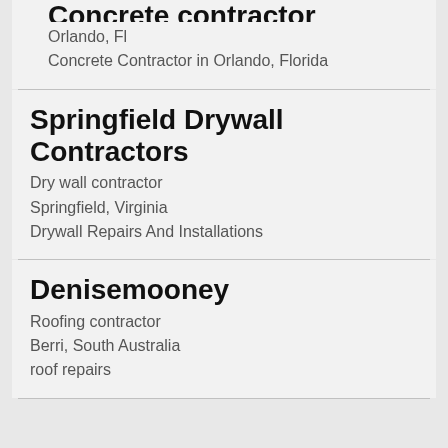Concrete contractor
Orlando, Fl
Concrete Contractor in Orlando, Florida
Springfield Drywall Contractors
Dry wall contractor
Springfield, Virginia
Drywall Repairs And Installations
Denisemooney
Roofing contractor
Berri, South Australia
roof repairs